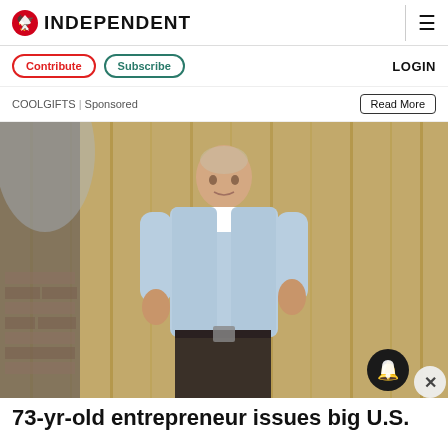INDEPENDENT
Contribute  Subscribe  LOGIN
COOLGIFTS | Sponsored   Read More
[Figure (photo): Middle-aged to older man in light blue shirt standing in front of wooden planks and stacked bricks outdoors]
73-yr-old entrepreneur issues big U.S.